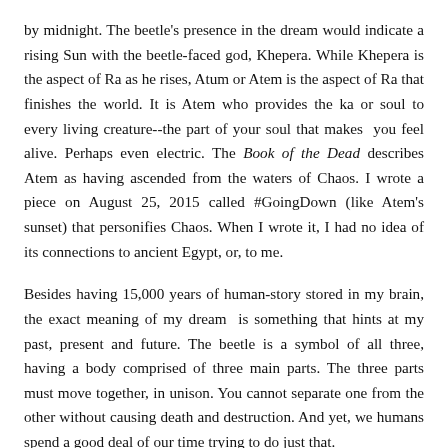by midnight. The beetle's presence in the dream would indicate a rising Sun with the beetle-faced god, Khepera. While Khepera is the aspect of Ra as he rises, Atum or Atem is the aspect of Ra that finishes the world. It is Atem who provides the ka or soul to every living creature--the part of your soul that makes you feel alive. Perhaps even electric. The Book of the Dead describes Atem as having ascended from the waters of Chaos. I wrote a piece on August 25, 2015 called #GoingDown (like Atem's sunset) that personifies Chaos. When I wrote it, I had no idea of its connections to ancient Egypt, or, to me.
Besides having 15,000 years of human-story stored in my brain, the exact meaning of my dream is something that hints at my past, present and future. The beetle is a symbol of all three, having a body comprised of three main parts. The three parts must move together, in unison. You cannot separate one from the other without causing death and destruction. And yet, we humans spend a good deal of our time trying to do just that.
Shukran ("thank you") to the old gods who protect me to this day. A'nekh djet!